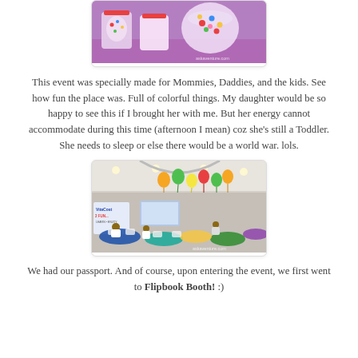[Figure (photo): Top portion of a photo showing a purple table with candy bags and a round container filled with colorful candies. Watermark reads 'askaventure.com'.]
This event was specially made for Mommies, Daddies, and the kids. See how fun the place was. Full of colorful things. My daughter would be so happy to see this if I brought her with me. But her energy cannot accommodate during this time (afternoon I mean) coz she's still a Toddler. She needs to sleep or else there would be a world war. lols.
[Figure (photo): Indoor event venue with colorful balloons (orange, green, yellow, red) on the ceiling, round tables with colorful tablecloths, children and adults seated. A banner for 'VitaCost 2 FUN...' is visible on the left. Watermark reads 'askaventure.com'.]
We had our passport. And of course, upon entering the event, we first went to Flipbook Booth! :)